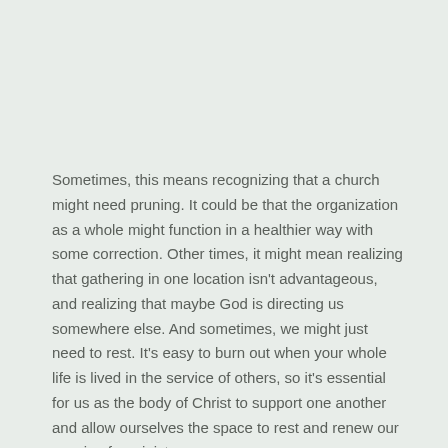Sometimes, this means recognizing that a church might need pruning. It could be that the organization as a whole might function in a healthier way with some correction. Other times, it might mean realizing that gathering in one location isn't advantageous, and realizing that maybe God is directing us somewhere else. And sometimes, we might just need to rest. It's easy to burn out when your whole life is lived in the service of others, so it's essential for us as the body of Christ to support one another and allow ourselves the space to rest and renew our passion for ministry.